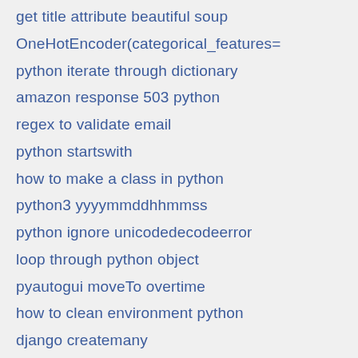get title attribute beautiful soup
OneHotEncoder(categorical_features=
python iterate through dictionary
amazon response 503 python
regex to validate email
python startswith
how to make a class in python
python3 yyyymmddhhmmss
python ignore unicodedecodeerror
loop through python object
pyautogui moveTo overtime
how to clean environment python
django createmany
django static files / templates